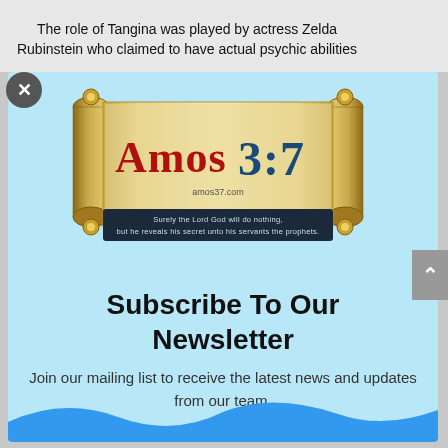The role of Tangina was played by actress Zelda Rubinstein who claimed to have actual psychic abilities
[Figure (logo): Amos 3:7 website logo — a scroll with 'Amos 3:7' text in red and blue, with tagline 'Surely the Lord God will do nothing, but he reveals his secret unto his servants the prophets.' and amos37.com URL]
Subscribe To Our Newsletter
Join our mailing list to receive the latest news and updates from our team.